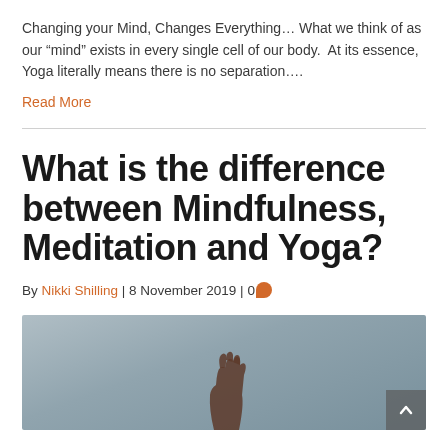Changing your Mind, Changes Everything… What we think of as our “mind” exists in every single cell of our body.  At its essence, Yoga literally means there is no separation….
Read More
What is the difference between Mindfulness, Meditation and Yoga?
By Nikki Shilling | 8 November 2019 | 0
[Figure (photo): A hand reaching upward against a muted blue-grey sky background]